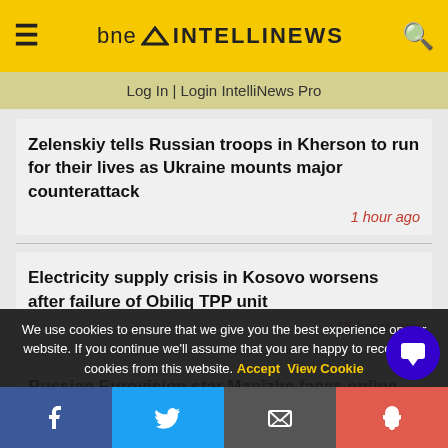bne INTELLINEWS
Log In | Login IntelliNews Pro
Zelenskiy tells Russian troops in Kherson to run for their lives as Ukraine mounts major counterattack
1 hour ago
Electricity supply crisis in Kosovo worsens after failure of Obiliq TPP unit
16 hours ago
Russian Eurovision star Manizhe faces online
We use cookies to ensure that we give you the best experience on our website. If you continue we'll assume that you are happy to receive all cookies from this website. Accept View Cookie